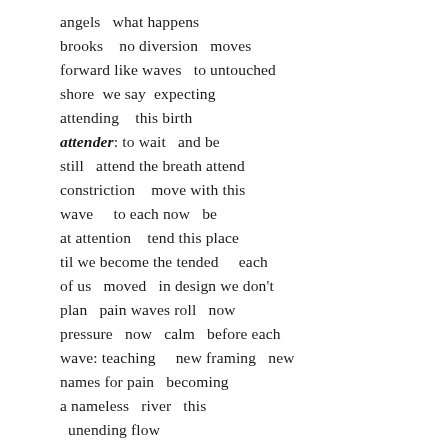angels   what happens
brooks    no diversion   moves
forward like waves   to untouched
shore  we say  expecting
attending   this birth
attender: to wait   and be
still   attend the breath attend
constriction   move with this
wave    to each now   be
at attention   tend this place
til we become the tended    each
of us   moved   in design we don't
plan   pain waves roll   now
pressure   now   calm   before each
wave: teaching    new framing   new
names for pain   becoming
a nameless   river   this
  unending flow
we step into    birthing or birthed or